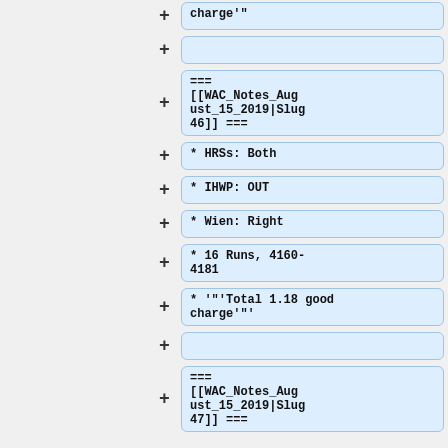+ charge'"
+ (empty)
+ === [[WAC_Notes_August_15_2019|Slug 46]] ===
+ * HRSs: Both
+ * IHWP: OUT
+ * Wien: Right
+ * 16 Runs, 4160-4181
+ * '"'Total 1.18 good charge'"'
+ (empty)
+ === [[WAC_Notes_August_15_2019|Slug 47]] ===